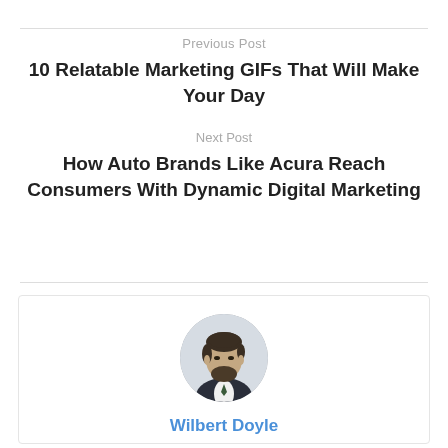Previous Post
10 Relatable Marketing GIFs That Will Make Your Day
Next Post
How Auto Brands Like Acura Reach Consumers With Dynamic Digital Marketing
[Figure (photo): Circular profile photo of a bearded man in a dark blazer]
Wilbert Doyle